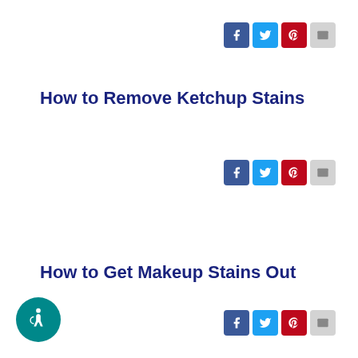[Figure (infographic): Social share buttons row (Facebook, Twitter, Pinterest, Email) in top right]
How to Remove Ketchup Stains
[Figure (infographic): Social share buttons row (Facebook, Twitter, Pinterest, Email) in right side middle]
How to Get Makeup Stains Out
[Figure (infographic): Accessibility icon button (teal circle with wheelchair symbol) bottom left]
[Figure (infographic): Social share buttons row (Facebook, Twitter, Pinterest, Email) in bottom right]